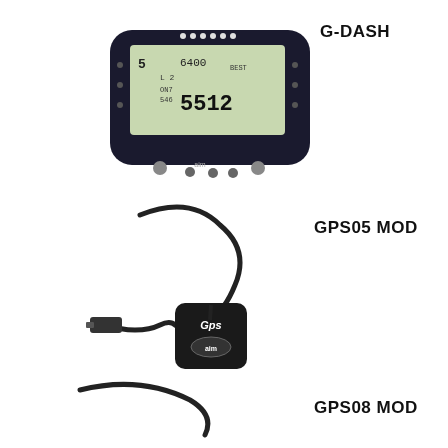[Figure (photo): G-DASH racing dashboard display unit showing LCD screen with lap times and RPM]
G-DASH
[Figure (photo): GPS05 module - black GPS antenna/receiver unit with cable and connector]
GPS05 MOD
[Figure (photo): GPS08 module - partially visible black GPS unit with cable]
GPS08 MOD